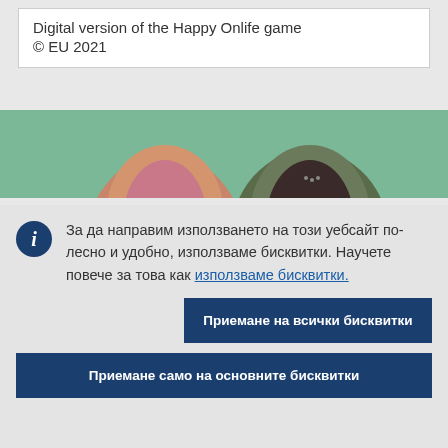Digital version of the Happy Onlife game
© EU 2021
[Figure (photo): Photo strip showing two people (one in pink/orange top, one in dark green/brown top) against a green background, cropped to show torsos only]
За да направим използването на този уебсайт по-лесно и удобно, използваме бисквитки. Научете повече за това как използваме бисквитки.
Приемане на всички бисквитки
Приемане само на основните бисквитки